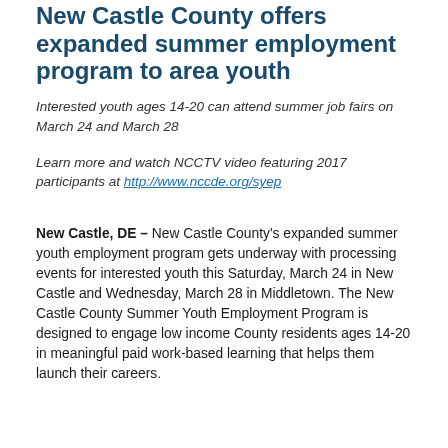New Castle County offers expanded summer employment program to area youth
Interested youth ages 14-20 can attend summer job fairs on March 24 and March 28
Learn more and watch NCCTV video featuring 2017 participants at http://www.nccde.org/syep
New Castle, DE – New Castle County's expanded summer youth employment program gets underway with processing events for interested youth this Saturday, March 24 in New Castle and Wednesday, March 28 in Middletown. The New Castle County Summer Youth Employment Program is designed to engage low income County residents ages 14-20 in meaningful paid work-based learning that helps them launch their careers.